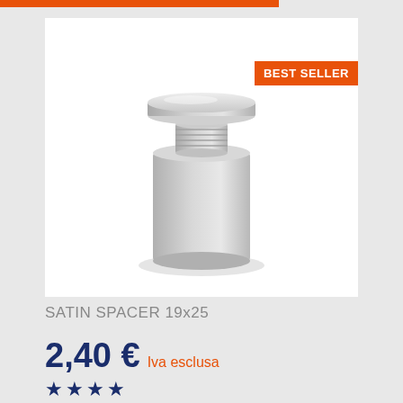[Figure (photo): Satin metal spacer/standoff bolt with cylindrical body and threaded cap, shown in 3D product render with 'BEST SELLER' orange badge overlay]
SATIN SPACER 19x25
2,40 € Iva esclusa
[Figure (other): Four dark blue star rating icons]